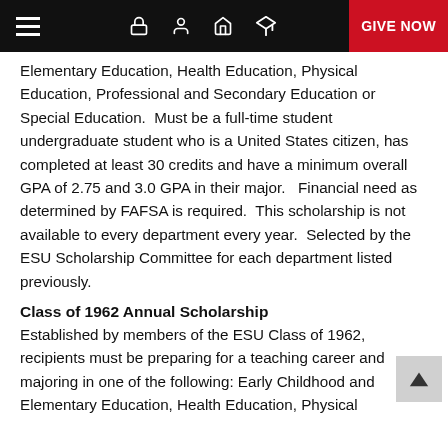Navigation bar with hamburger menu, lock icon, user icon, home icon, graduation cap icon, and GIVE NOW button
Elementary Education, Health Education, Physical Education, Professional and Secondary Education or Special Education.  Must be a full-time student undergraduate student who is a United States citizen, has completed at least 30 credits and have a minimum overall GPA of 2.75 and 3.0 GPA in their major.   Financial need as determined by FAFSA is required.  This scholarship is not available to every department every year.  Selected by the ESU Scholarship Committee for each department listed previously.
Class of 1962 Annual Scholarship
Established by members of the ESU Class of 1962, recipients must be preparing for a teaching career and majoring in one of the following: Early Childhood and Elementary Education, Health Education, Physical